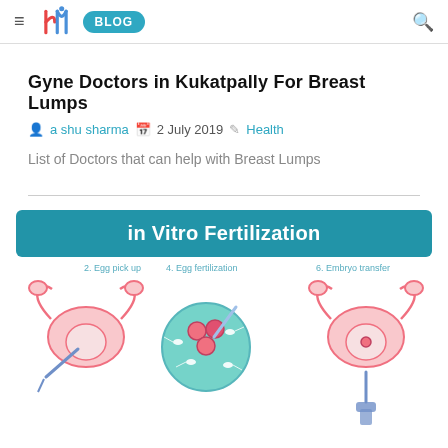≡ [SMi logo] BLOG [search icon]
Gyne Doctors in Kukatpally For Breast Lumps
ashu sharma  2 July 2019  Health
List of Doctors that can help with Breast Lumps
[Figure (infographic): In Vitro Fertilization infographic showing: 2. Egg pick up (uterus diagram with needle), 4. Egg fertilization (petri dish with sperm and eggs), and 6. Embryo transfer (uterus diagram with syringe)]